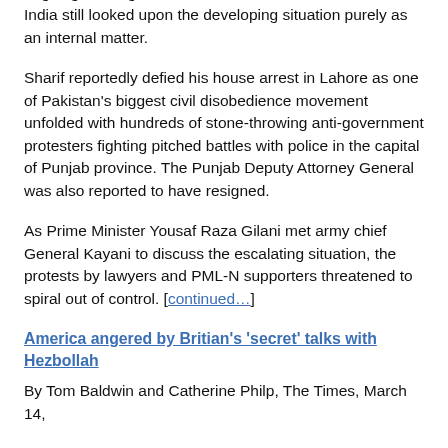ongoing investigations into Mumbai attacks, but added that India still looked upon the developing situation purely as an internal matter.
Sharif reportedly defied his house arrest in Lahore as one of Pakistan's biggest civil disobedience movement unfolded with hundreds of stone-throwing anti-government protesters fighting pitched battles with police in the capital of Punjab province. The Punjab Deputy Attorney General was also reported to have resigned.
As Prime Minister Yousaf Raza Gilani met army chief General Kayani to discuss the escalating situation, the protests by lawyers and PML-N supporters threatened to spiral out of control. [continued…]
America angered by Britian's 'secret' talks with Hezbollah
By Tom Baldwin and Catherine Philp, The Times, March 14,